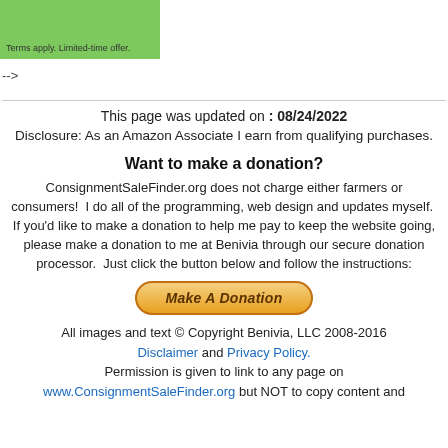[Figure (other): Green promotional banner with text 'Terms apply. Limited-time offer.']
-->
This page was updated on : 08/24/2022
Disclosure: As an Amazon Associate I earn from qualifying purchases.
Want to make a donation?
ConsignmentSaleFinder.org does not charge either farmers or consumers!  I do all of the programming, web design and updates myself.  If you'd like to make a donation to help me pay to keep the website going, please make a donation to me at Benivia through our secure donation processor.  Just click the button below and follow the instructions:
[Figure (other): PayPal Make A Donation button - orange rounded rectangle button with italic bold text 'Make A Donation']
All images and text © Copyright Benivia, LLC 2008-2016
Disclaimer and Privacy Policy.
Permission is given to link to any page on
www.ConsignmentSaleFinder.org but NOT to copy content and